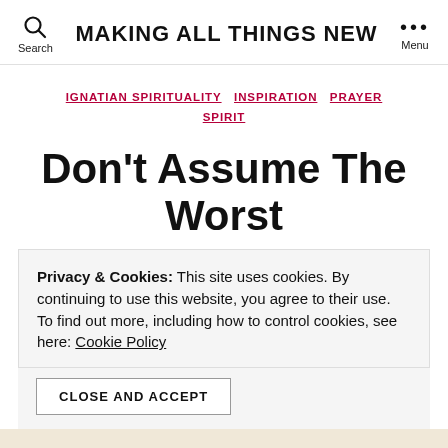MAKING ALL THINGS NEW
IGNATIAN SPIRITUALITY  INSPIRATION  PRAYER  SPIRIT
Don't Assume The Worst
Privacy & Cookies: This site uses cookies. By continuing to use this website, you agree to their use. To find out more, including how to control cookies, see here: Cookie Policy
CLOSE AND ACCEPT